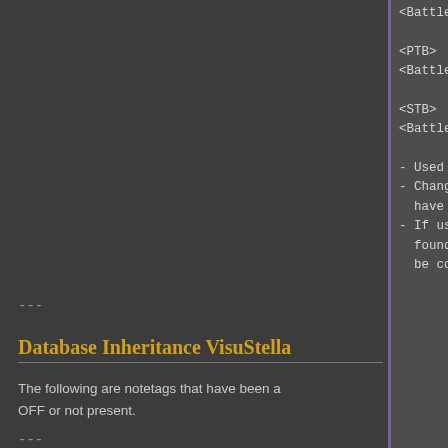<Battle System: OTB>

<PTB>
<Battle System: PTB>

<STB>
<Battle System: STB>

- Used for: Map Notetags, Troop
- Changes the battle system to
  have those plugins installed
- If using Troop Comment Tags,
  found on any of the Troop's p
  be considered in effect.
---
Database Inheritance VisuStella
The following are notetags that have been a OFF or not present.
---